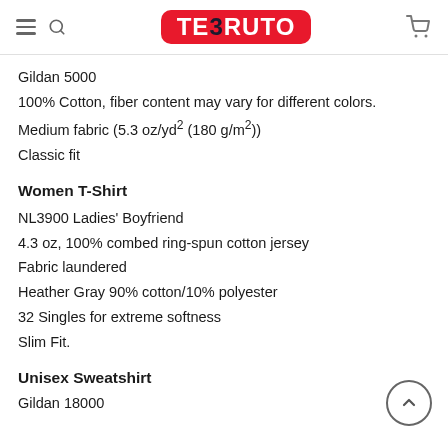TEERUTO
Gildan 5000
100% Cotton, fiber content may vary for different colors.
Medium fabric (5.3 oz/yd² (180 g/m²))
Classic fit
Women T-Shirt
NL3900 Ladies' Boyfriend
4.3 oz, 100% combed ring-spun cotton jersey
Fabric laundered
Heather Gray 90% cotton/10% polyester
32 Singles for extreme softness
Slim Fit.
Unisex Sweatshirt
Gildan 18000